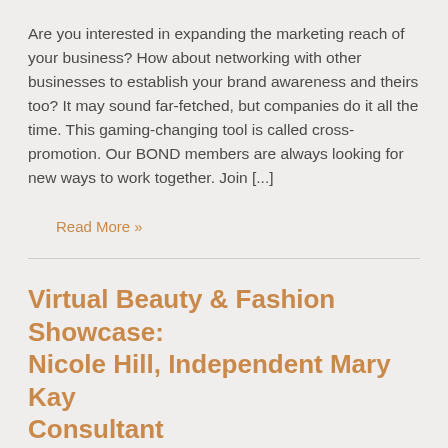Are you interested in expanding the marketing reach of your business? How about networking with other businesses to establish your brand awareness and theirs too? It may sound far-fetched, but companies do it all the time. This gaming-changing tool is called cross-promotion. Our BOND members are always looking for new ways to work together. Join […]
Read More »
Virtual Beauty & Fashion Showcase: Nicole Hill, Independent Mary Kay Consultant
No Comments | Advice, Local Businesses
[Figure (photo): Photo of a woman with long dark hair, cropped at the top of the page section]